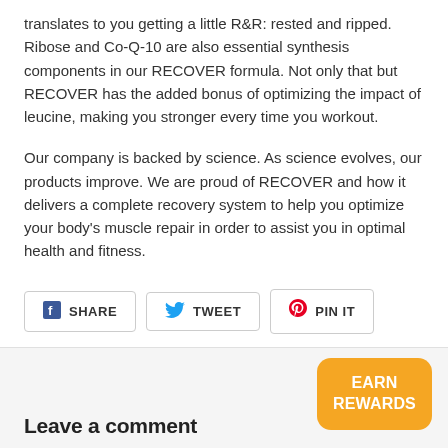translates to you getting a little R&R: rested and ripped. Ribose and Co-Q-10 are also essential synthesis components in our RECOVER formula. Not only that but RECOVER has the added bonus of optimizing the impact of leucine, making you stronger every time you workout.
Our company is backed by science. As science evolves, our products improve. We are proud of RECOVER and how it delivers a complete recovery system to help you optimize your body's muscle repair in order to assist you in optimal health and fitness.
[Figure (infographic): Social share buttons: SHARE (Facebook icon), TWEET (Twitter icon), PIN IT (Pinterest icon)]
Leave a comment
EARN REWARDS